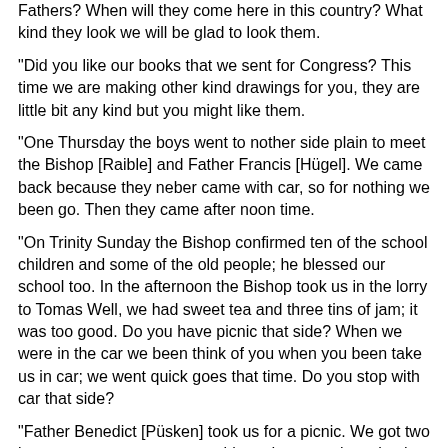Fathers? When will they come here in this country? What kind they look we will be glad to look them.
"Did you like our books that we sent for Congress? This time we are making other kind drawings for you, they are little bit any kind but you might like them.
"One Thursday the boys went to nother side plain to meet the Bishop [Raible] and Father Francis [Hügel]. We came back because they neber came with car, so for nothing we been go. Then they came after noon time.
"On Trinity Sunday the Bishop confirmed ten of the school children and some of the old people; he blessed our school too. In the afternoon the Bishop took us in the lorry to Tomas Well, we had sweet tea and three tins of jam; it was too good. Do you have picnic that side? When we were in the car we been think of you when you been take us in car; we went quick goes that time. Do you stop with car that side?
"Father Benedict [Püsken] took us for a picnic. We got two kangaroos; we gave one to girls and we got plenty bush fruit.
"Father John [Herold] came up to see us. We was glad to look him after long time.
"I hope you like this little letter. Tell them new Fathers we